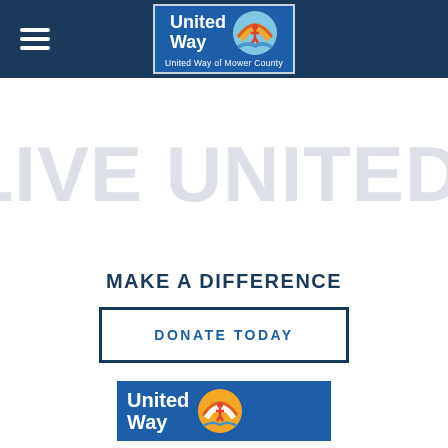[Figure (logo): United Way of Mower County logo on dark navy header with hamburger menu icon on the left]
LIVE UNITED®
MAKE A DIFFERENCE
DONATE TODAY
[Figure (logo): United Way logo (partially visible) at bottom of page]